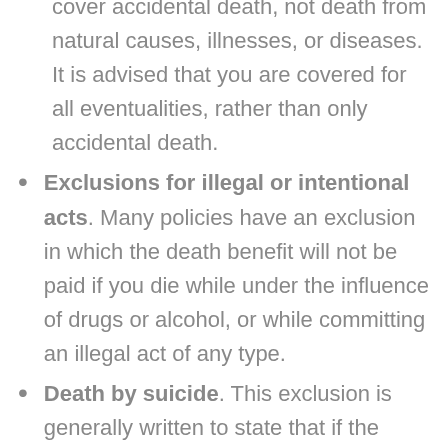cover accidental death, not death from natural causes, illnesses, or diseases. It is advised that you are covered for all eventualities, rather than only accidental death.
Exclusions for illegal or intentional acts. Many policies have an exclusion in which the death benefit will not be paid if you die while under the influence of drugs or alcohol, or while committing an illegal act of any type.
Death by suicide. This exclusion is generally written to state that if the person commits suicide within the first two years of owning the policy, the policy will pay out only the amount paid in premiums, not the death benefit.
Misrepresentation. This exclusion...